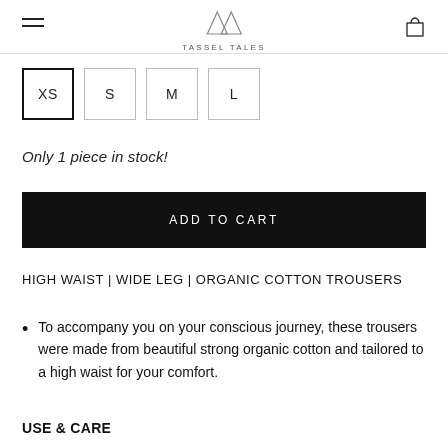TASSEL TALES
XS  S  M  L
Only 1 piece in stock!
ADD TO CART
HIGH WAIST | WIDE LEG | ORGANIC COTTON TROUSERS
To accompany you on your conscious journey, these trousers were made from beautiful strong organic cotton and tailored to a high waist for your comfort.
USE & CARE